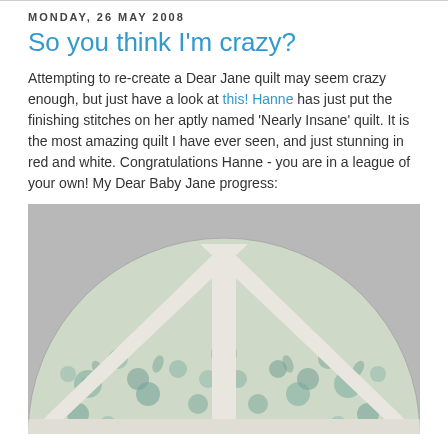MONDAY, 26 MAY 2008
So you think I'm crazy?
Attempting to re-create a Dear Jane quilt may seem crazy enough, but just have a look at this! Hanne has just put the finishing stitches on her aptly named 'Nearly Insane' quilt. It is the most amazing quilt I have ever seen, and just stunning in red and white. Congratulations Hanne - you are in a league of your own! My Dear Baby Jane progress:
[Figure (photo): A semicircular quilt block in teal/green floral fabric on cream background, with white diagonal and vertical strips forming a geometric pattern resembling a fan or cathedral window design, photographed on a gray surface.]